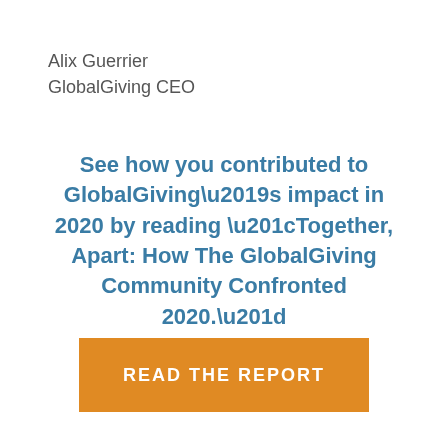Alix Guerrier
GlobalGiving CEO
See how you contributed to GlobalGiving’s impact in 2020 by reading “Together, Apart: How The GlobalGiving Community Confronted 2020.”
[Figure (other): Orange button with white text reading READ THE REPORT]